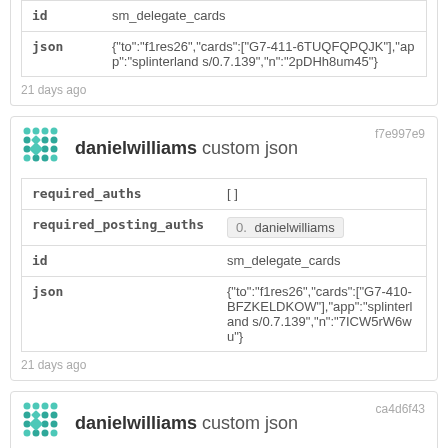| id | json |
| --- | --- |
| id | sm_delegate_cards |
| json | {"to":"f1res26","cards":["G7-411-6TUQFQPQJK"],"app":"splinterlands/0.7.139","n":"2pDHh8um45"} |
21 days ago
[Figure (logo): Teal dot-grid avatar icon for danielwilliams]
danielwilliams custom json
f7e997e9
| field | value |
| --- | --- |
| required_auths | [] |
| required_posting_auths | 0. danielwilliams |
| id | sm_delegate_cards |
| json | {"to":"f1res26","cards":["G7-410-BFZKELDKOW"],"app":"splinterlands/0.7.139","n":"7ICW5rW6wu"} |
21 days ago
[Figure (logo): Teal dot-grid avatar icon for danielwilliams]
danielwilliams custom json
ca4d6f43
| field | value |
| --- | --- |
| required_auths | [] |
| required_posting_auths | 0. danielwilliams |
| id | sm_delegate_cards |
| json | {"to":"f1res26","cards":["G7-409-2WEI030AGG"],"app":"splinterlands/0.7.139","n":"bSka3JTPC5"} |